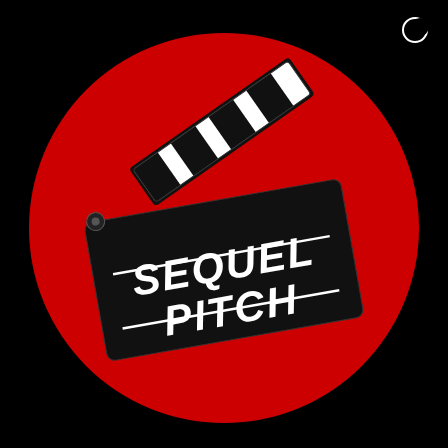[Figure (logo): Sequel Pitch logo: black background with a large red circle in the center. A movie clapperboard is shown at an angle over the red circle. The clapperboard has a black body with white text reading 'SEQUEL PITCH' and a striped black-and-white clapper arm extended diagonally upward. A small crescent moon icon appears in the top-right corner.]